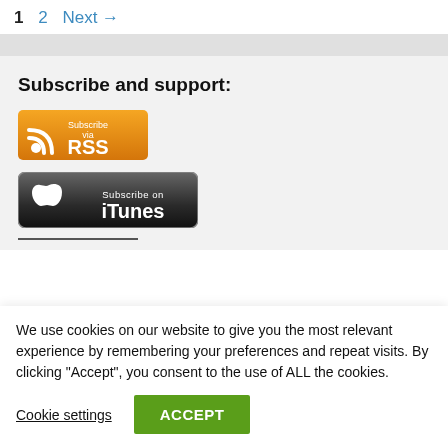1  2  Next →
Subscribe and support:
[Figure (logo): RSS feed subscription button with orange background and RSS icon]
[Figure (logo): Subscribe on iTunes button with black background and Apple logo]
We use cookies on our website to give you the most relevant experience by remembering your preferences and repeat visits. By clicking "Accept", you consent to the use of ALL the cookies.
Cookie settings
ACCEPT